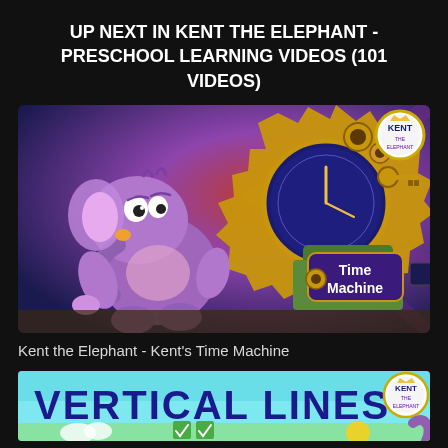UP NEXT IN KENT THE ELEPHANT - PRESCHOOL LEARNING VIDEOS (101 VIDEOS)
[Figure (screenshot): Animated thumbnail showing Kent the Elephant (purple cartoon elephant) next to a glowing golden Time Machine with gears, on a purple/blue background. Kent logo in top right corner. Text 'Time Machine' displayed on a sign in the image.]
Kent the Elephant - Kent’s Time Machine
[Figure (screenshot): Thumbnail showing 'VERTICAL LINES' text in large dark blue bold letters on a light blue/cyan background, with Kent the Elephant logo badge in top right, and partial cartoon imagery at the bottom.]